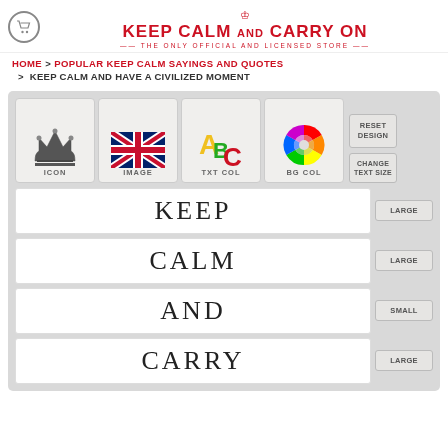KEEP CALM AND CARRY ON — THE ONLY OFFICIAL AND LICENSED STORE
HOME > POPULAR KEEP CALM SAYINGS AND QUOTES
> KEEP CALM AND HAVE A CIVILIZED MOMENT
[Figure (screenshot): Design tool interface with ICON, IMAGE, TXT COL, BG COL buttons, RESET DESIGN, CHANGE TEXT SIZE controls, and text fields showing KEEP, CALM, AND, CARRY with LARGE/SMALL size buttons]